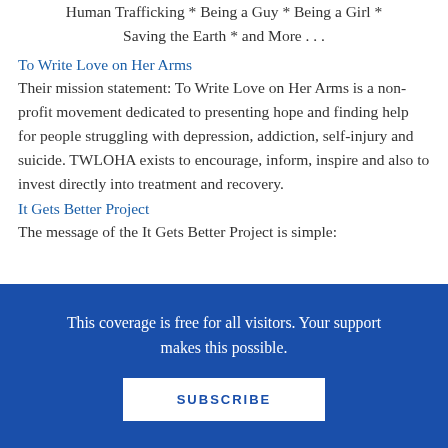Teenage Depression * Bullying * Dating Violence * Human Trafficking * Being a Guy * Being a Girl * Saving the Earth * and More . . .
To Write Love on Her Arms
Their mission statement: To Write Love on Her Arms is a non-profit movement dedicated to presenting hope and finding help for people struggling with depression, addiction, self-injury and suicide. TWLOHA exists to encourage, inform, inspire and also to invest directly into treatment and recovery.
It Gets Better Project
The message of the It Gets Better Project is simple:
This coverage is free for all visitors. Your support makes this possible.
SUBSCRIBE